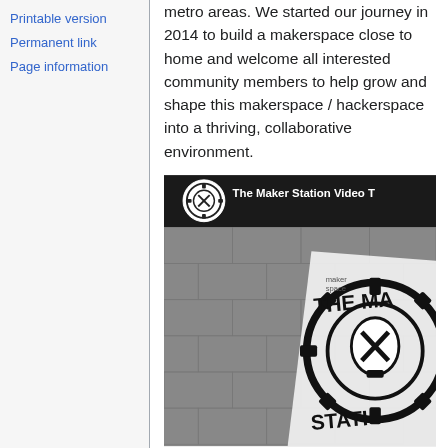Printable version
Permanent link
Page information
metro areas. We started our journey in 2014 to build a makerspace close to home and welcome all interested community members to help grow and shape this makerspace / hackerspace into a thriving, collaborative environment.
[Figure (screenshot): Video thumbnail for The Maker Station Video Tour, showing a black and white banner with The Maker Station gear logo against a concrete block wall background, with a YouTube-style header showing the channel logo and title 'The Maker Station Video T...']